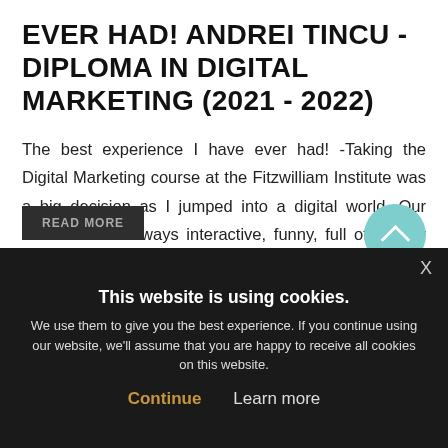EVER HAD! ANDREI TINCU - DIPLOMA IN DIGITAL MARKETING (2021 - 2022)
The best experience I have ever had! -Taking the Digital Marketing course at the Fitzwilliam Institute was a big decision as I jumped into a digital world. Our classes were always interactive, funny, full of energy and interest. Before taking the course, I didn't know which side of digital marketing I preferred (SEO, PPC, Social Media) but going through the different subjects; I finally understood that SEO...
This website is using cookies. We use them to give you the best experience. If you continue using our website, we'll assume that you are happy to receive all cookies on this website. Continue  Learn more